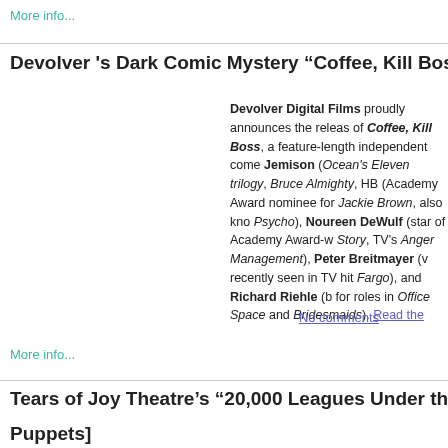More info...
Devolver 's Dark Comic Mystery “Coffee, Kill Boss” – VOD Relea
Devolver Digital Films proudly announces the release of Coffee, Kill Boss, a feature-length independent comedy starring Michael Jemison (Ocean’s Eleven trilogy, Bruce Almighty, HBO’s ...) (Academy Award nominee for Jackie Brown, also known for Psycho), Noureen DeWulf (star of Academy Award-winning story, TV’s Anger Management), Peter Breitmayer (who was recently seen in TV hit Fargo), and Richard Riehle (best known for roles in Office Space and Bridesmaids). Read the...
No comments
More info...
Tears of Joy Theatre’s “20,000 Leagues Under the Sea”11/19/14 a
Puppets]
Théâtre Raymond Kabbaz is pleased to present 20,000 Leagues Under the Sea, a steampunk-inspired puppet theatre performance of the 19th century Jules Verne science fiction novel by Portland Tears of Joy Theatre. Wednesday, November 19, 2014. Th...